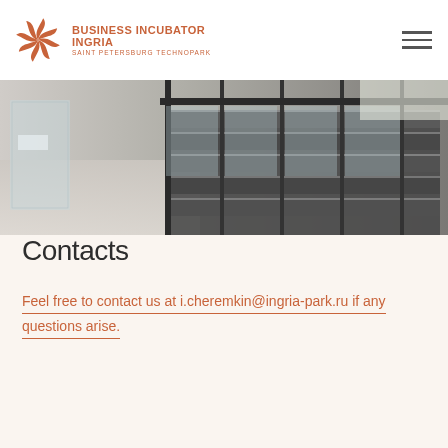BUSINESS INCUBATOR INGRIA SAINT PETERSBURG TECHNOPARK
[Figure (photo): Interior staircase with glass railings and dark metal steps in a modern building]
Contacts
Feel free to contact us at i.cheremkin@ingria-park.ru if any questions arise.